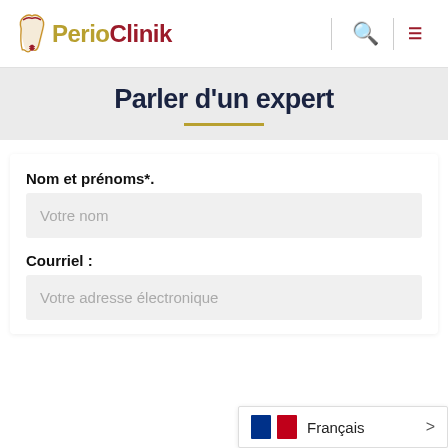PerioCLinik
Parler d'un expert
Nom et prénoms*.
Votre nom
Courriel :
Votre adresse électronique
Français